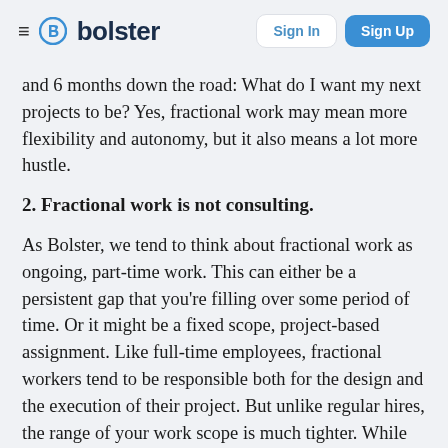bolster — Sign In | Sign Up
and 6 months down the road: What do I want my next projects to be? Yes, fractional work may mean more flexibility and autonomy, but it also means a lot more hustle.
2. Fractional work is not consulting.
As Bolster, we tend to think about fractional work as ongoing, part-time work. This can either be a persistent gap that you're filling over some period of time. Or it might be a fixed scope, project-based assignment. Like full-time employees, fractional workers tend to be responsible both for the design and the execution of their project. But unlike regular hires, the range of your work scope is much tighter. While the project may change over time, it's